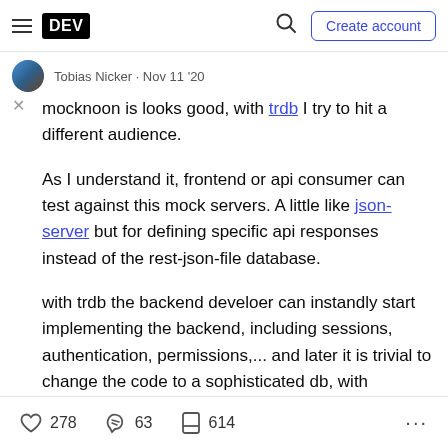DEV | Create account
Tobias Nicker · Nov 11 '20
mocknoon is looks good, with trdb I try to hit a different audience.

As I understand it, frontend or api consumer can test against this mock servers. A little like json-server but for defining specific api responses instead of the rest-json-file database.

with trdb the backend develoer can instandly start implementing the backend, including sessions, authentication, permissions,... and later it is trivial to change the code to a sophisticated db, with hopefully minimal code
♡ 278   63   614   ...